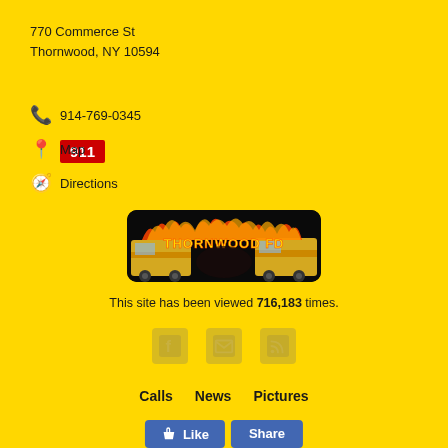770 Commerce St
Thornwood, NY 10594
911
📞 914-769-0345
📍 Map
🧭 Directions
[Figure (logo): Thornwood FD logo with fire trucks and flame text reading THORNWOOD FD on dark background]
This site has been viewed 716,183 times.
[Figure (infographic): Three social media icons: Facebook, Email, RSS feed]
Calls   News   Pictures
Like   Share